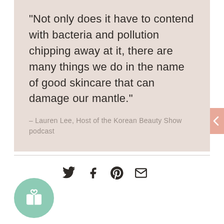"Not only does it have to contend with bacteria and pollution chipping away at it, there are many things we do in the name of good skincare that can damage our mantle."
- Lauren Lee, Host of the Korean Beauty Show podcast
[Figure (other): Social sharing icons: Twitter, Facebook, Pinterest, Email]
[Figure (other): Green circular button with gift/present icon]